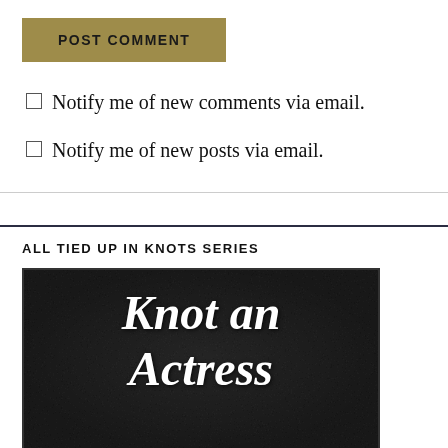POST COMMENT
Notify me of new comments via email.
Notify me of new posts via email.
ALL TIED UP IN KNOTS SERIES
[Figure (photo): Book cover for 'Knot an Actress' — dark textured background with italic white serif title text showing 'Knot an' and partial 'Actress']